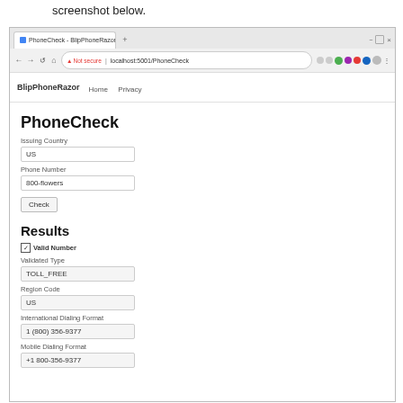screenshot below.
[Figure (screenshot): Browser screenshot showing PhoneCheck web application with BlipPhoneRazor navigation bar. Form fields: Issuing Country (US), Phone Number (800-flowers), Check button. Results section showing: Valid Number (checked), Validated Type (TOLL_FREE), Region Code (US), International Dialing Format (1 (800) 356-9377), Mobile Dialing Format (+1 800-356-9377).]